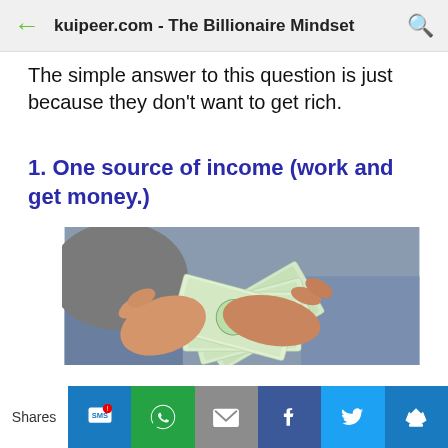kuipeer.com - The Billionaire Mindset
The simple answer to this question is just because they don't want to get rich.
1. One source of income (work and get money.)
[Figure (photo): Hands holding and fanning out US $100 dollar bills]
Shares